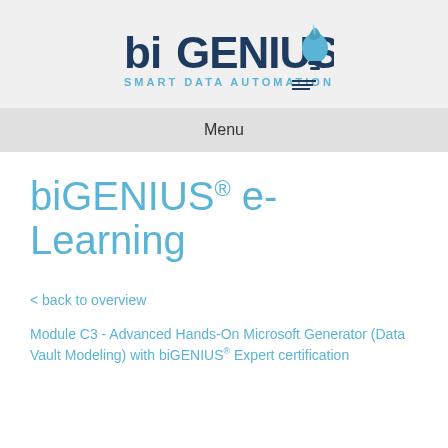[Figure (logo): biGENIUS SMART DATA AUTOMATION logo with rocket/lightbulb icon in blue tones]
Menu
biGENIUS® e-Learning
< back to overview
Module C3 - Advanced Hands-On Microsoft Generator (Data Vault Modeling) with biGENIUS® Expert certification